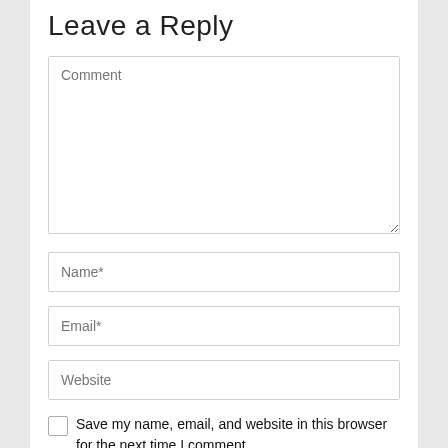Leave a Reply
Comment
Name*
Email*
Website
Save my name, email, and website in this browser for the next time I comment.